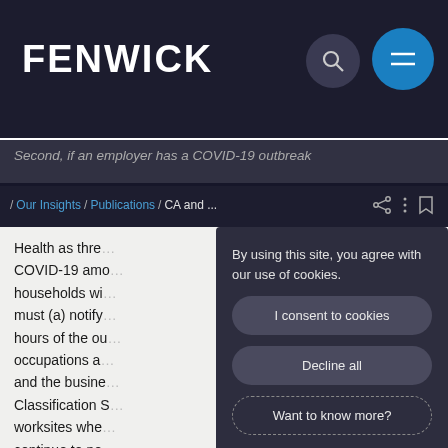FENWICK
/ Our Insights / Publications / CA and ...
Second, if an employer has a COVID-19 outbreak, Health as thre... COVID-19 amo... households wi... must (a) notify ... hours of the ou... occupations a... and the busine... Classification S... worksites whe... continue to no... subsequent la... the worksite.
By using this site, you agree with our use of cookies.
I consent to cookies
Decline all
Want to know more?
Privacy policy